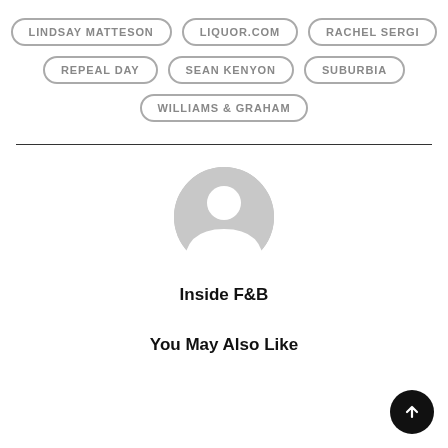LINDSAY MATTESON
LIQUOR.COM
RACHEL SERGI
REPEAL DAY
SEAN KENYON
SUBURBIA
WILLIAMS & GRAHAM
[Figure (illustration): Generic user avatar placeholder icon in gray]
Inside F&B
You May Also Like